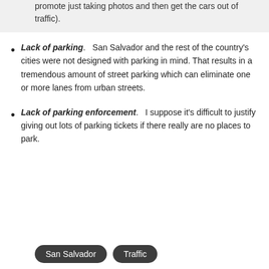promote just taking photos and then get the cars out of traffic).
Lack of parking.   San Salvador and the rest of the country's cities were not designed with parking in mind. That results in a tremendous amount of street parking which can eliminate one or more lanes from urban streets.
Lack of parking enforcement.   I suppose it's difficult to justify giving out lots of parking tickets if there really are no places to park.
San Salvador  Traffic